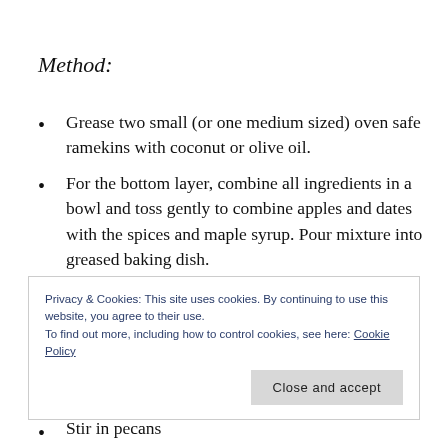Method:
Grease two small (or one medium sized) oven safe ramekins with coconut or olive oil.
For the bottom layer, combine all ingredients in a bowl and toss gently to combine apples and dates with the spices and maple syrup. Pour mixture into greased baking dish.
Privacy & Cookies: This site uses cookies. By continuing to use this website, you agree to their use.
To find out more, including how to control cookies, see here: Cookie Policy
Stir in pecans